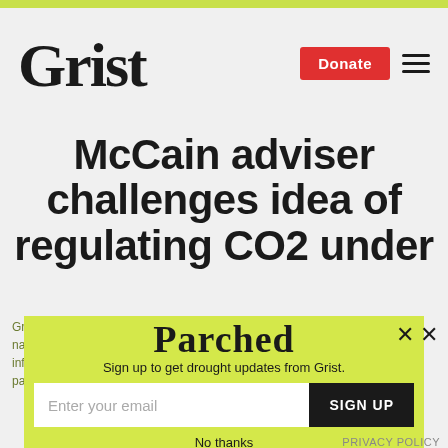Grist
McCain adviser challenges idea of regulating CO2 under
[Figure (screenshot): Parched newsletter signup overlay popup on Grist.org website, with yellow-green background, 'Parched' logo, email sign-up field, SIGN UP button, 'No thanks' link, and cookie consent text partially visible behind overlay. Close (X) button in top right.]